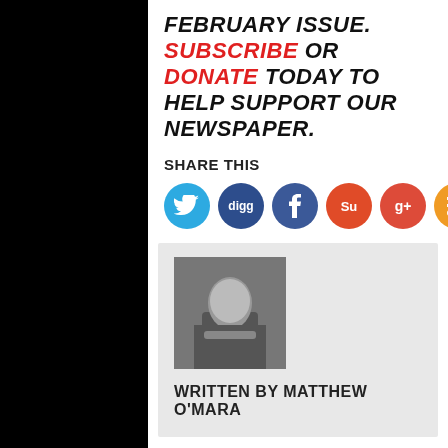FEBRUARY ISSUE. SUBSCRIBE OR DONATE TODAY TO HELP SUPPORT OUR NEWSPAPER.
SHARE THIS
[Figure (infographic): Six social media sharing icons: Twitter (blue), Digg (dark blue), Facebook (dark blue), StumbleUpon (red-orange), Google+ (red), RSS (orange)]
[Figure (photo): Headshot photo of Matthew O'Mara]
WRITTEN BY MATTHEW O'MARA
RELATED POSTS